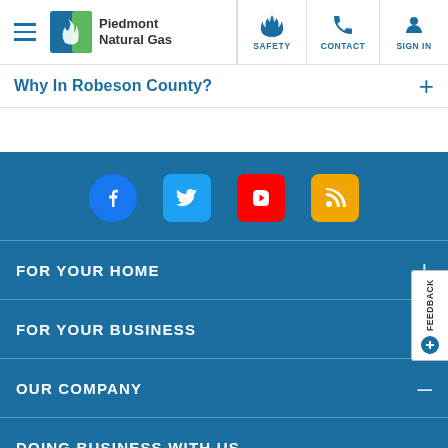Piedmont Natural Gas — Navigation bar with Safety, Contact, Sign In
Why In Robeson County?
[Figure (other): Social media icons: Facebook, Twitter, YouTube, RSS Feed in blue footer area]
FOR YOUR HOME
FOR YOUR BUSINESS
OUR COMPANY
DOING BUSINESS WITH US